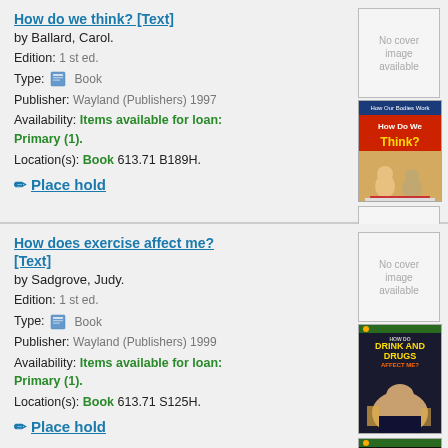How do we think? [Text]
by Ballard, Carol.
Edition: 1 st ed.
Type: Book
Publisher: Wayland (Publishers) 1997
Availability: Items available for loan: Primary (1).
Location(s): Book 612.8 B189H.
Place hold
[Figure (photo): Book cover for How Do We Think? showing two children studying at a table. Above is a grey 'No cover image available' placeholder. Below is the actual book cover.]
How does exercise affect me? [Text]
by Sadgrove, Judy.
Edition: 1 st ed.
Type: Book
Publisher: Wayland (Publishers) 1999
Availability: Items available for loan: Primary (1).
Location(s): Book 613.71 S125H.
Place hold
[Figure (photo): Two book covers shown: 'How Do Drink and Drugs Affect Me?' and partially visible 'How Does Exercise Affect Me?' with a 'No cover image available' placeholder above.]